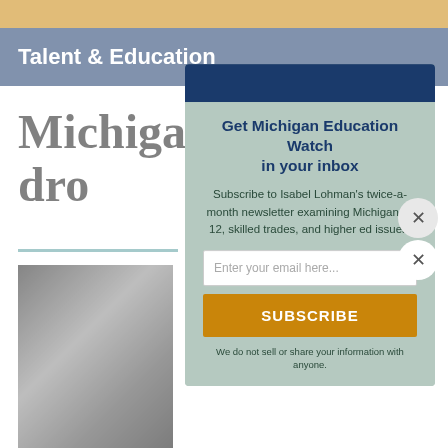Talent & Education
Michigan's college dro
[Figure (photo): Black and white photo partially visible behind modal popup]
Get Michigan Education Watch in your inbox
Subscribe to Isabel Lohman's twice-a-month newsletter examining Michigan K-12, skilled trades, and higher ed issues.
Enter your email here...
SUBSCRIBE
We do not sell or share your information with anyone.